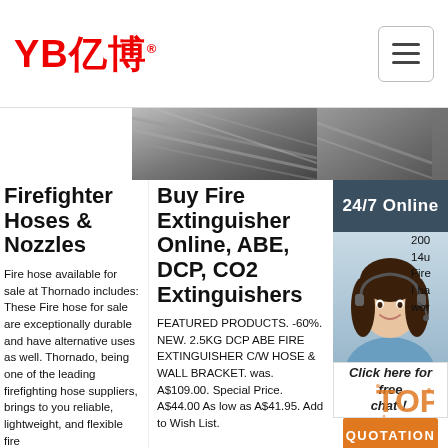[Figure (logo): YB亿博 logo in red with registered trademark symbol]
[Figure (screenshot): Navigation hamburger menu icon button]
[Figure (photo): Dark metallic image strip - partial product images]
Firefighter Hoses & Nozzles
Fire hose available for sale at Thornado includes: These Fire hose for sale are exceptionally durable and have alternative uses as well. Thornado, being one of the leading firefighting hose suppliers, brings to you reliable, lightweight, and flexible fire
Buy Fire Extinguisher Online, ABE, DCP, CO2 Extinguishers
FEATURED PRODUCTS. -60%. NEW. 2.5KG DCP ABE FIRE EXTINGUISHER C/W HOSE & WALL BRACKET. was. A$109.00. Special Price. A$44.00 As low as A$41.95. Add to Wish List.
[Figure (photo): 24/7 Online chat agent - woman with headset smiling, with chat bubble saying 'Click here for free chat!' and orange QUOTATION button]
Be Fir Fir Fo
200 14u Fire I ha wor Hose, Snap-Tite Ponn and Angus Imperial, I can help out here. And, since I am in no way affiliated with any hose manufacturer, I can be un-biased